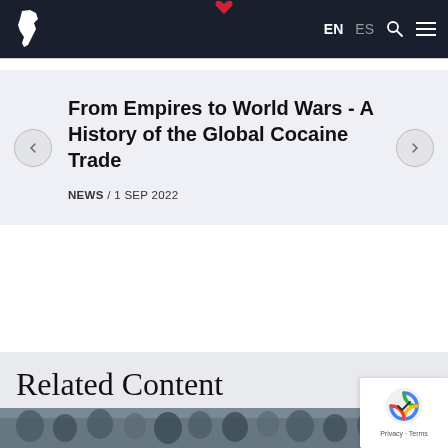EN ES
From Empires to World Wars - A History of the Global Cocaine Trade
NEWS / 1 SEP 2022
Related Content
[Figure (photo): Crowd of people photographed from elevated angle, partial view at bottom of page]
[Figure (other): reCAPTCHA badge with Privacy and Terms links]